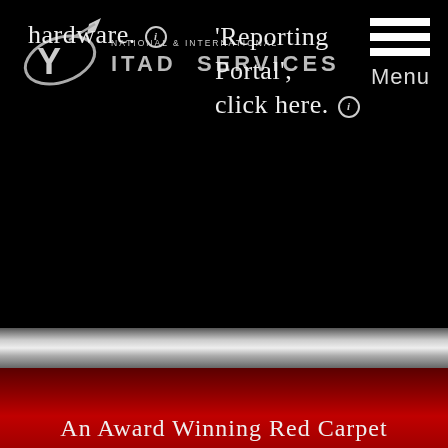[Figure (logo): YRC logo with globe/arrow icon and text 'NATIONAL & INTERNATIONAL ITAD SERVICES']
Menu
hardware. ⓘ
'Reporting Portal', click here. ⓘ
An Award Winning Red Carpet